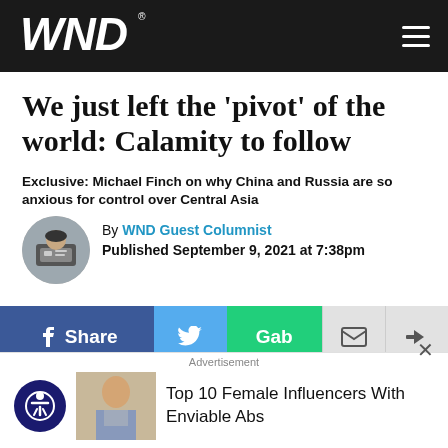WND
We just left the 'pivot' of the world: Calamity to follow
Exclusive: Michael Finch on why China and Russia are so anxious for control over Central Asia
By WND Guest Columnist
Published September 9, 2021 at 7:38pm
Share | Twitter | Gab | Mail | Forward
By Michael Finch
Advertisement
Top 10 Female Influencers With Enviable Abs